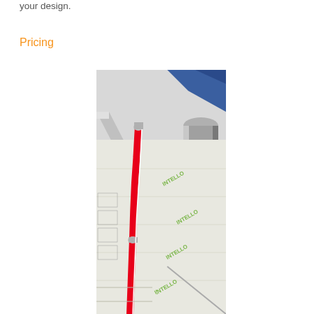your design.
Pricing
[Figure (photo): Construction photo showing a red flexible pipe/tube running vertically along an insulated ceiling or roof structure, with a gray cylindrical duct visible in the upper right corner. The background shows white insulation material with green 'INTELLO' branding text printed on it.]